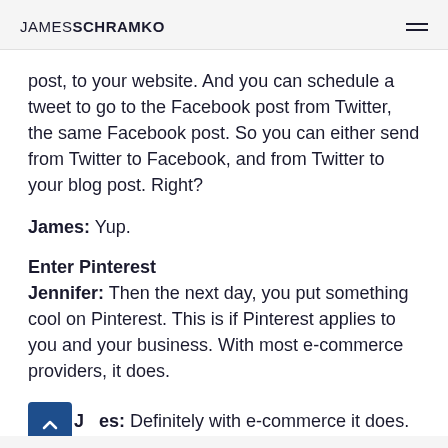JAMES SCHRAMKO
post, to your website. And you can schedule a tweet to go to the Facebook post from Twitter, the same Facebook post. So you can either send from Twitter to Facebook, and from Twitter to your blog post. Right?
James: Yup.
Enter Pinterest
Jennifer: Then the next day, you put something cool on Pinterest. This is if Pinterest applies to you and your business. With most e-commerce providers, it does.
James: Definitely with e-commerce it does. Infographics seem pretty popular there, too.